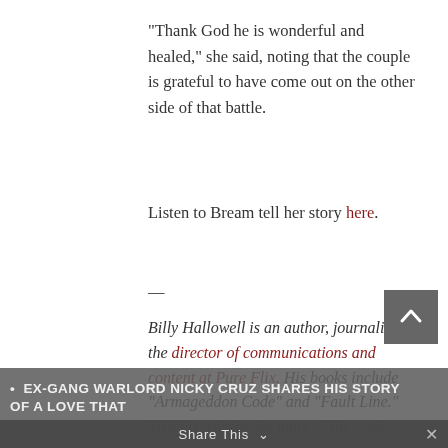“Thank God he is wonderful and healed,” she said, noting that the couple is grateful to have come out on the other side of that battle.
Listen to Bream tell her story here.
—
Billy Hallowell is an author, journalist and the director of communications and content at Pure Flix. His books include “Armageddon Code” and “Fault Line.” Visit his website for more of his work.
THINK ETERNITY FAITH CONTENT
EX-GANG WARLORD NICKY CRUZ SHARES HIS STORY OF A LOVE THAT
Share This